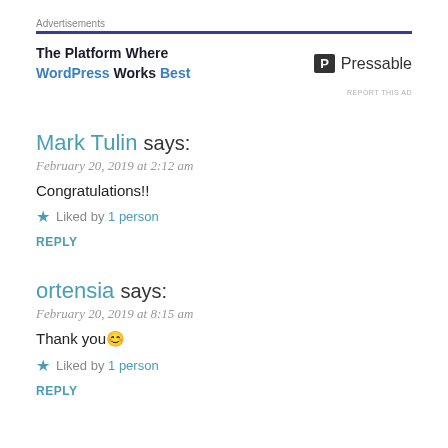[Figure (infographic): Advertisement banner for Pressable: 'The Platform Where WordPress Works Best' with Pressable logo and 'REPORT THIS AD' link]
Mark Tulin says:
February 20, 2019 at 2:12 am
Congratulations!!
Liked by 1 person
REPLY
ortensia says:
February 20, 2019 at 8:15 am
Thank you😊
Liked by 1 person
REPLY